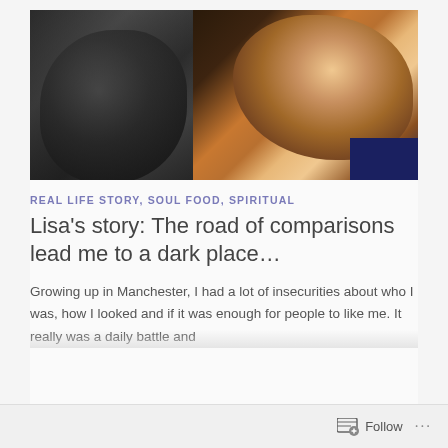[Figure (photo): Split photo: left half is a black-and-white close-up portrait of a woman, right half is a color close-up portrait of a smiling Black woman with braided hair, crystal earring, and purple eye makeup]
REAL LIFE STORY, SOUL FOOD, SPIRITUAL
Lisa's story: The road of comparisons lead me to a dark place…
Growing up in Manchester, I had a lot of insecurities about who I was, how I looked and if it was enough for people to like me. It really was a daily battle and